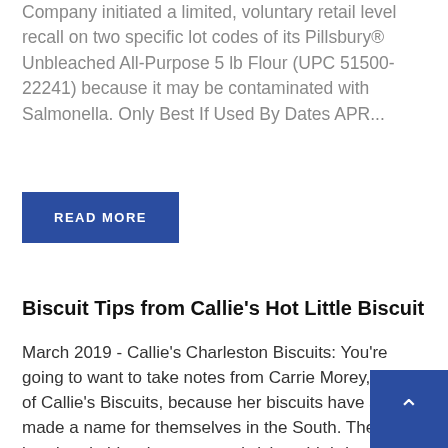Company initiated a limited, voluntary retail level recall on two specific lot codes of its Pillsbury® Unbleached All-Purpose 5 lb Flour (UPC 51500-22241) because it may be contaminated with Salmonella. Only Best If Used By Dates APR...
READ MORE
Biscuit Tips from Callie's Hot Little Biscuit
March 2019 - Callie's Charleston Biscuits: You're going to want to take notes from Carrie Morey, owner of Callie's Biscuits, because her biscuits have surely made a name for themselves in the South. These handmade biscuits come as sandwiches, birthday desserts, topped with bacon, or just simply by...